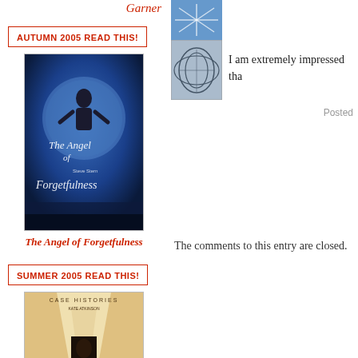Garner
[Figure (photo): Small thumbnail image with blue geometric/network pattern]
AUTUMN 2005 READ THIS!
[Figure (photo): Small thumbnail image with grey circular/oval line drawing on blue background]
I am extremely impressed tha
Posted
[Figure (photo): Book cover of 'The Angel of Forgetfulness' by Steve Stern - dark blue cover with floating figure]
The Angel of Forgetfulness
The comments to this entry are closed.
SUMMER 2005 READ THIS!
[Figure (photo): Book cover of 'Case Histories' by Kate Atkinson - beige/tan corridor cover]